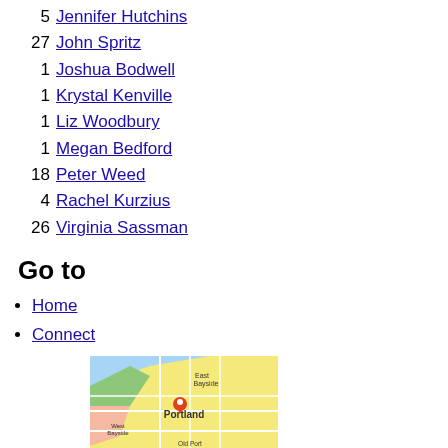5  Jennifer Hutchins
27 John Spritz
1  Joshua Bodwell
1  Krystal Kenville
1  Liz Woodbury
1  Megan Bedford
18 Peter Weed
4  Rachel Kurzius
26 Virginia Sassman
Go to
Home
Connect
[Figure (map): Interactive Map & Guide for Portland showing East Bayside, West Bayside, Old Port, Downtown areas with a red location pin marker]